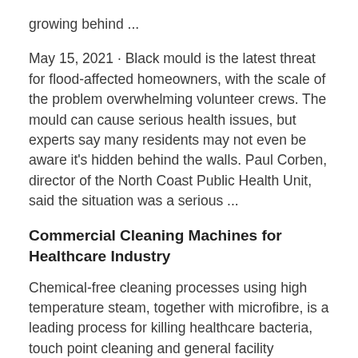growing behind ...
May 15, 2021 · Black mould is the latest threat for flood-affected homeowners, with the scale of the problem overwhelming volunteer crews. The mould can cause serious health issues, but experts say many residents may not even be aware it's hidden behind the walls. Paul Corben, director of the North Coast Public Health Unit, said the situation was a serious ...
Commercial Cleaning Machines for Healthcare Industry
Chemical-free cleaning processes using high temperature steam, together with microfibre, is a leading process for killing healthcare bacteria, touch point cleaning and general facility sterilisation. Duplex offer high temperature steam machines,